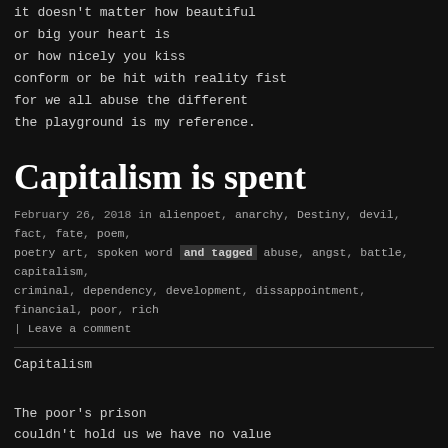it doesn't matter how beautiful
or big your heart is
or how nicely you kiss
conform or be hit with reality fist
for we all abuse the different
the playground is my reference.
Capitalism is spent
February 26, 2018 in alienpoet, anarchy, Destiny, devil, fact, fate, poem, poetry art, spoken word and tagged abuse, angst, battle, capitalism, criminal, dependency, development, dissappointment, financial, poor, rich | Leave a comment
Capitalism

The poor's prison
couldn't hold us we have no value
binned in the sin bin
the void is massive and not narrow
unless you go to Eaton or Harrow
you will never get to be an MP